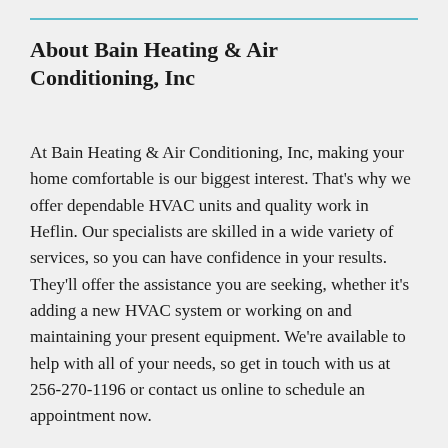About Bain Heating & Air Conditioning, Inc
At Bain Heating & Air Conditioning, Inc, making your home comfortable is our biggest interest. That's why we offer dependable HVAC units and quality work in Heflin. Our specialists are skilled in a wide variety of services, so you can have confidence in your results. They'll offer the assistance you are seeking, whether it's adding a new HVAC system or working on and maintaining your present equipment. We're available to help with all of your needs, so get in touch with us at 256-270-1196 or contact us online to schedule an appointment now.